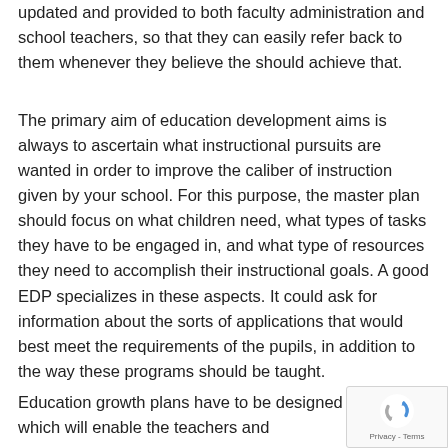updated and provided to both faculty administration and school teachers, so that they can easily refer back to them whenever they believe the should achieve that.
The primary aim of education development aims is always to ascertain what instructional pursuits are wanted in order to improve the caliber of instruction given by your school. For this purpose, the master plan should focus on what children need, what types of tasks they have to be engaged in, and what type of resources they need to accomplish their instructional goals. A good EDP specializes in these aspects. It could ask for information about the sorts of applications that would best meet the requirements of the pupils, in addition to the way these programs should be taught.
Education growth plans have to be designed in a way which will enable the teachers and